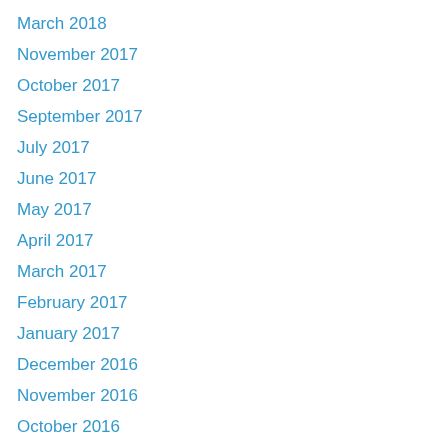March 2018
November 2017
October 2017
September 2017
July 2017
June 2017
May 2017
April 2017
March 2017
February 2017
January 2017
December 2016
November 2016
October 2016
September 2016
August 2016
July 2016
June 2016
May 2016
April 2016